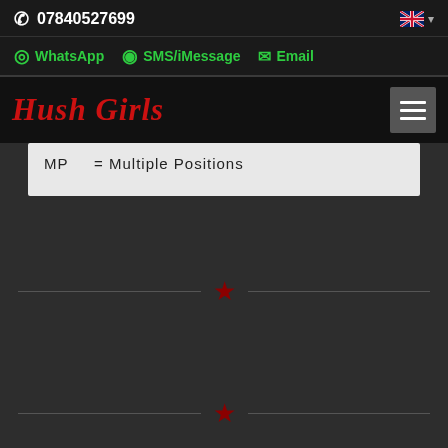07840527699
WhatsApp  SMS/iMessage  Email
Hush Girls
MP = Multiple Positions
[Figure (illustration): Red star divider with two horizontal lines on dark background]
[Figure (illustration): Red star divider with two horizontal lines on dark background]